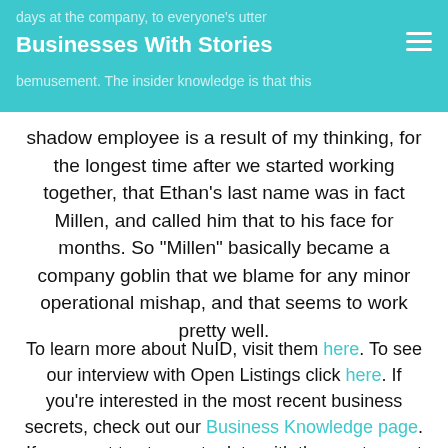Businesses With Stories
shadow employee is a result of my thinking, for the longest time after we started working together, that Ethan’s last name was in fact Millen, and called him that to his face for months. So “Millen” basically became a company goblin that we blame for any minor operational mishap, and that seems to work pretty well.
To learn more about NuID, visit them here. To see our interview with Open Listings click here. If you’re interested in the most recent business secrets, check out our Business Knowledge page. If you want to stay up to date with the most recent BWS news, follow us on Instagram and Twitter!